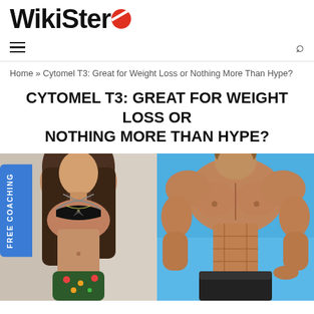WikiStero
Home » Cytomel T3: Great for Weight Loss or Nothing More Than Hype?
CYTOMEL T3: GREAT FOR WEIGHT LOSS OR NOTHING MORE THAN HYPE?
[Figure (photo): Two fitness model photos side by side: a woman in a black bikini top with floral bottoms on the left, and a muscular shirtless man on a blue background on the right. A blue 'FREE COACHING' vertical badge appears on the left edge.]